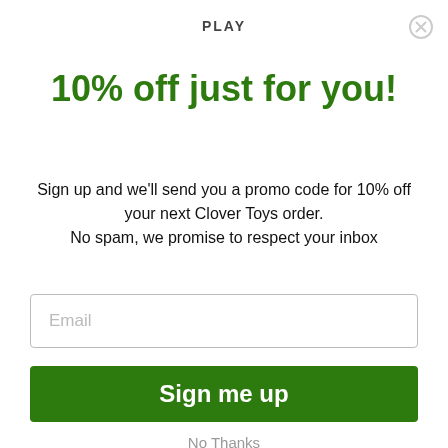PLAY
10% off just for you!
Sign up and we'll send you a promo code for 10% off your next Clover Toys order.
No spam, we promise to respect your inbox
[Figure (other): Email input field with placeholder text 'Email']
[Figure (other): Green 'Sign me up' button]
No Thanks